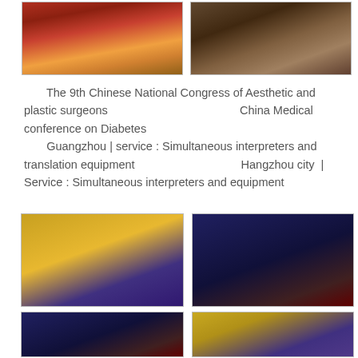[Figure (photo): Conference hall with red tablecloth and attendees seated at long tables — top left photo]
[Figure (photo): Conference room with brown wooden podium or table setup — top right photo]
The 9th Chinese National Congress of Aesthetic and plastic surgeons                                                            China Medical conference on Diabetes
        Guangzhou | service : Simultaneous interpreters and translation equipment                                              Hangzhou city  | Service : Simultaneous interpreters and equipment
[Figure (photo): Large conference hall with many attendees seated at round tables, blue banner with Chinese text on screen — bottom left large photo]
[Figure (photo): Auditorium with red seats and large projection screen showing presentation — bottom right large photo]
[Figure (photo): Conference hall with large screen — bottom left small photo]
[Figure (photo): Conference room with blue banner and screen — bottom right small photo]